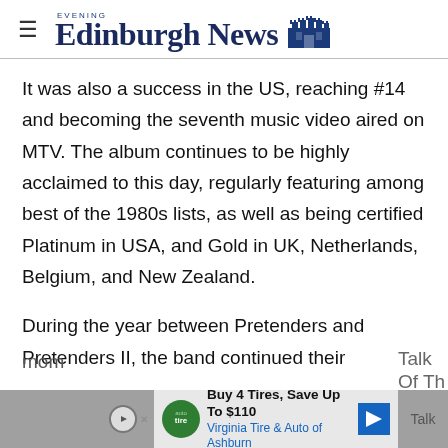Edinburgh Evening News
It was also a success in the US, reaching #14 and becoming the seventh music video aired on MTV. The album continues to be highly acclaimed to this day, regularly featuring among best of the 1980s lists, as well as being certified Platinum in USA, and Gold in UK, Netherlands, Belgium, and New Zealand.
During the year between Pretenders and Pretenders II, the band continued their mom... Talk Of Th...
Buy 4 Tires, Save Up To $110 Virginia Tire & Auto of Ashburn